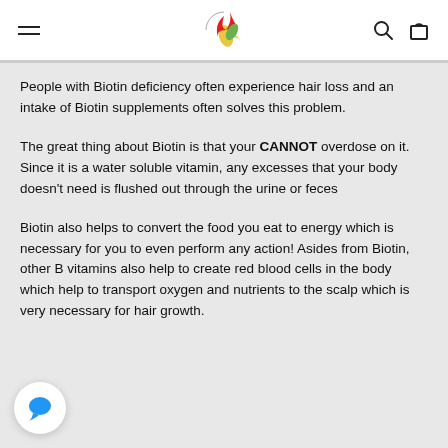Glossmed Naturally Oil — navigation header with logo, search and cart icons
People with Biotin deficiency often experience hair loss and an intake of Biotin supplements often solves this problem.
The great thing about Biotin is that your CANNOT overdose on it. Since it is a water soluble vitamin, any excesses that your body doesn't need is flushed out through the urine or feces
Biotin also helps to convert the food you eat to energy which is necessary for you to even perform any action! Asides from Biotin, other B vitamins also help to create red blood cells in the body which help to transport oxygen and nutrients to the scalp which is very necessary for hair growth.